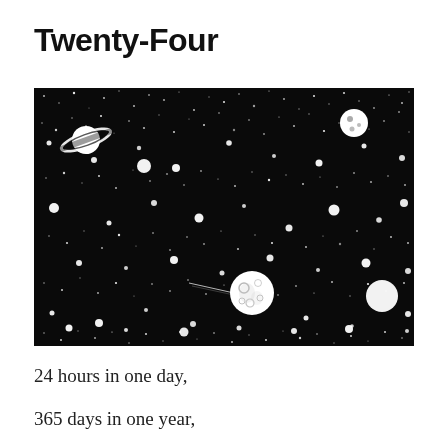Twenty-Four
[Figure (illustration): Black and white illustration of outer space, showing a starfield with numerous white dots of varying sizes representing stars, plus depictions of planets including Saturn with rings (upper left), a moon with craters (center-right lower area), and another celestial body (upper right). The background is solid black.]
24 hours in one day,
365 days in one year,